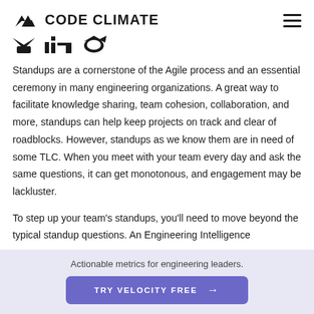CODE CLIMATE
[Figure (logo): Three social media/brand icons partially visible at top of page]
Standups are a cornerstone of the Agile process and an essential ceremony in many engineering organizations. A great way to facilitate knowledge sharing, team cohesion, collaboration, and more, standups can help keep projects on track and clear of roadblocks. However, standups as we know them are in need of some TLC. When you meet with your team every day and ask the same questions, it can get monotonous, and engagement may be lackluster.
To step up your team's standups, you'll need to move beyond the typical standup questions. An Engineering Intelligence
Actionable metrics for engineering leaders. TRY VELOCITY FREE →